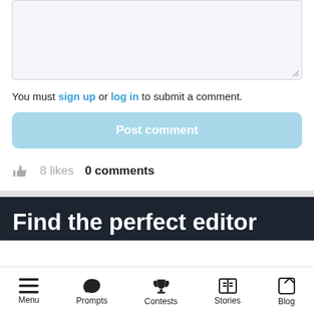[Figure (screenshot): Textarea input box with light gray background and resize handle in bottom right corner]
You must sign up or log in to submit a comment.
Post comment
8 likes   0 comments
Find the perfect editor
Menu  Prompts  Contests  Stories  Blog